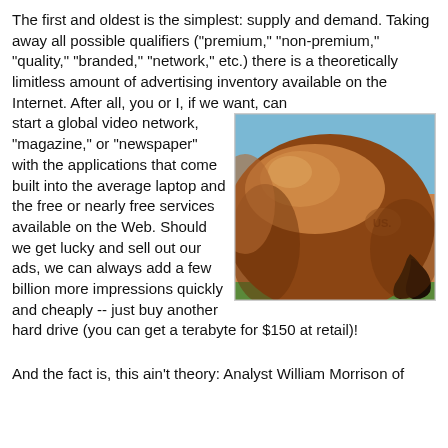The first and oldest is the simplest: supply and demand. Taking away all possible qualifiers ("premium," "non-premium," "quality," "branded," "network," etc.) there is a theoretically limitless amount of advertising inventory available on the Internet. After all, you or I, if we want, can start a global video network, "magazine," or "newspaper" with the applications that come built into the average laptop and the free or nearly free services available on the Web. Should we get lucky and sell out our ads, we can always add a few billion more impressions quickly and cheaply -- just buy another hard drive (you can get a terabyte for $150 at retail)!
[Figure (photo): Close-up photograph of a horse's hindquarters/rump area, showing brown/chestnut coat with a brand mark visible. Blue sky in background, green grass at bottom.]
And the fact is, this ain't theory: Analyst William Morrison of